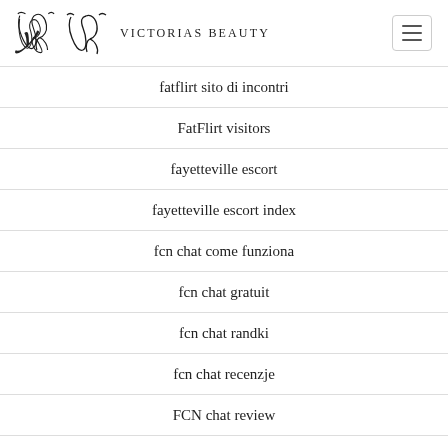Victorias Beauty
fatflirt sito di incontri
FatFlirt visitors
fayetteville escort
fayetteville escort index
fcn chat come funziona
fcn chat gratuit
fcn chat randki
fcn chat recenzje
FCN chat review